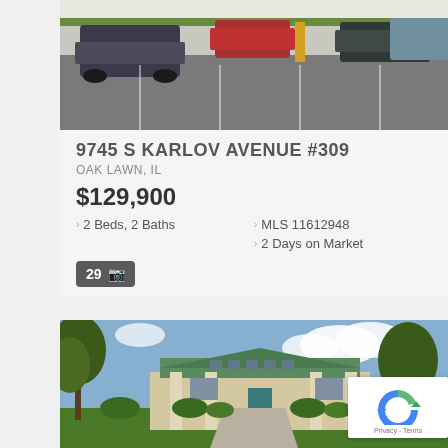[Figure (photo): Parking lot photo showing cars parked in a lot]
9745 S KARLOV AVENUE #309
OAK LAWN, IL
$129,900
2 Beds,  2 Baths
MLS 11612948
2 Days on Market
29 [camera icon]
[Figure (photo): Exterior photo of a large Prairie-style house with green lawn, trees, and driveway. House icon overlay in upper right. reCAPTCHA widget in lower right corner with Privacy - Terms text.]